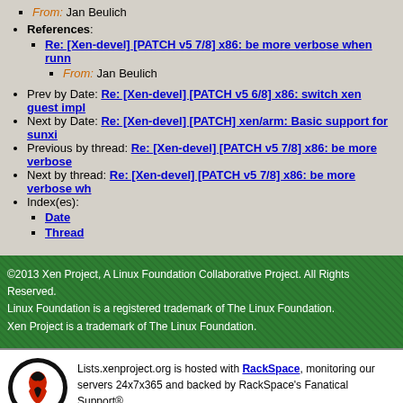From: Jan Beulich
References:
Re: [Xen-devel] [PATCH v5 7/8] x86: be more verbose when runn...
From: Jan Beulich
Prev by Date: Re: [Xen-devel] [PATCH v5 6/8] x86: switch xen guest impl...
Next by Date: Re: [Xen-devel] [PATCH] xen/arm: Basic support for sunxi...
Previous by thread: Re: [Xen-devel] [PATCH v5 7/8] x86: be more verbose...
Next by thread: Re: [Xen-devel] [PATCH v5 7/8] x86: be more verbose wh...
Index(es):
Date
Thread
©2013 Xen Project, A Linux Foundation Collaborative Project. All Rights Reserved. Linux Foundation is a registered trademark of The Linux Foundation. Xen Project is a trademark of The Linux Foundation.
Lists.xenproject.org is hosted with RackSpace, monitoring our servers 24x7x365 and backed by RackSpace's Fanatical Support®.